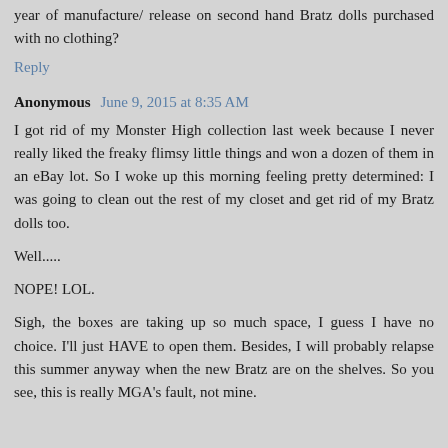year of manufacture/ release on second hand Bratz dolls purchased with no clothing?
Reply
Anonymous  June 9, 2015 at 8:35 AM
I got rid of my Monster High collection last week because I never really liked the freaky flimsy little things and won a dozen of them in an eBay lot. So I woke up this morning feeling pretty determined: I was going to clean out the rest of my closet and get rid of my Bratz dolls too.
Well.....
NOPE! LOL.
Sigh, the boxes are taking up so much space, I guess I have no choice. I'll just HAVE to open them. Besides, I will probably relapse this summer anyway when the new Bratz are on the shelves. So you see, this is really MGA's fault, not mine.